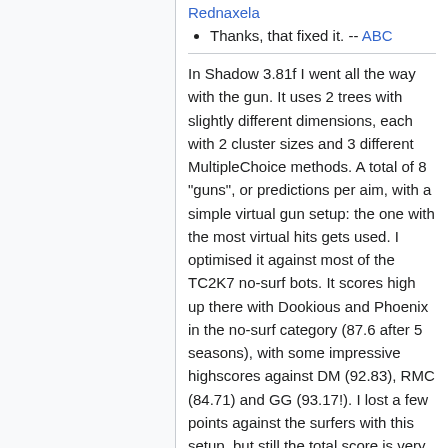Thanks, that fixed it. -- ABC
In Shadow 3.81f I went all the way with the gun. It uses 2 trees with slightly different dimensions, each with 2 cluster sizes and 3 different MultipleChoice methods. A total of 8 "guns", or predictions per aim, with a simple virtual gun setup: the one with the most virtual hits gets used. I optimised it against most of the TC2K7 no-surf bots. It scores high up there with Dookious and Phoenix in the no-surf category (87.6 after 5 seasons), with some impressive highscores against DM (92.83), RMC (84.71) and GG (93.17!). I lost a few points against the surfers with this setup, but still the total score is very good, 81.72. How can this gun not be worth some good points in the Rumble? -- ABC